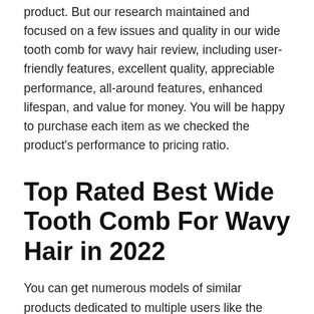product. But our research maintained and focused on a few issues and quality in our wide tooth comb for wavy hair review, including user-friendly features, excellent quality, appreciable performance, all-around features, enhanced lifespan, and value for money. You will be happy to purchase each item as we checked the product's performance to pricing ratio.
Top Rated Best Wide Tooth Comb For Wavy Hair in 2022
You can get numerous models of similar products dedicated to multiple users like the wide tooth comb for wavy hair. Our selection of top 10 best wide tooth comb for wavy hair are made after